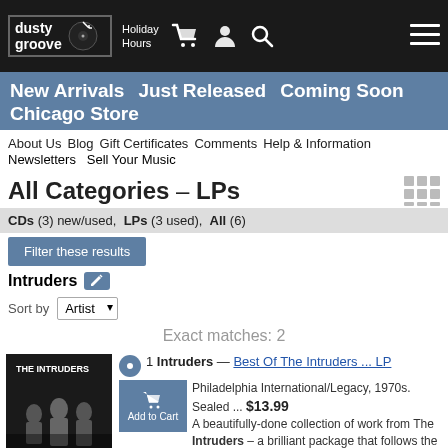dusty groove | Holiday Hours | Cart | Account | Search | Menu
New Arrivals  Just Released  Coming Soon  Chicago Store
About Us  Blog  Gift Certificates  Comments  Help & Information  Newsletters  Sell Your Music
All Categories – LPs
CDs (3) new/used,  LPs (3 used),  All (6)
Filter these results
Intruders
Sort by  Artist
Exact matches: 2
1  Intruders — Best Of The Intruders ... LP  Philadelphia International/Legacy, 1970s. Sealed ...  $13.99  Add to Cart  A beautifully-done collection of work from The Intruders – a brilliant package that follows the group from early harmony days into some of their more